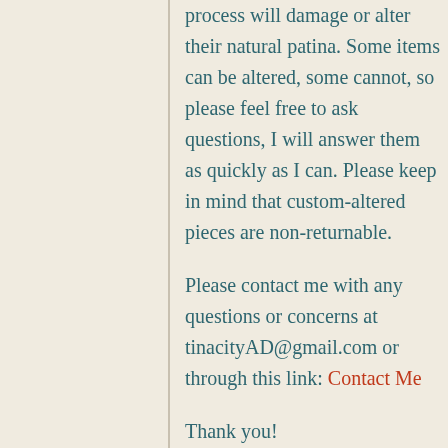process will damage or alter their natural patina. Some items can be altered, some cannot, so please feel free to ask questions, I will answer them as quickly as I can. Please keep in mind that custom-altered pieces are non-returnable.
Please contact me with any questions or concerns at tinacityAD@gmail.com or through this link: Contact Me
Thank you!
Tina